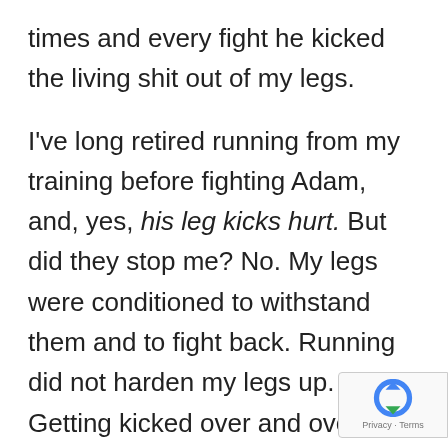times and every fight he kicked the living shit out of my legs.
I've long retired running from my training before fighting Adam, and, yes, his leg kicks hurt. But did they stop me? No. My legs were conditioned to withstand them and to fight back. Running did not harden my legs up. Getting kicked over and over and over again in the gym is what did the trick, plain and simple. Throwing kick on the bags and pads over and over